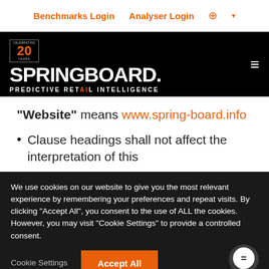Benchmarks Login   Analyser Login
[Figure (logo): Springboard logo with '20 Years Celebrating' badge on black background. Text: SPRINGBOARD. PREDICTIVE RETAIL INTELLIGENCE]
"Website" means www.spring-board.info
Clause headings shall not affect the interpretation of this
We use cookies on our website to give you the most relevant experience by remembering your preferences and repeat visits. By clicking "Accept All", you consent to the use of ALL the cookies. However, you may visit "Cookie Settings" to provide a controlled consent.